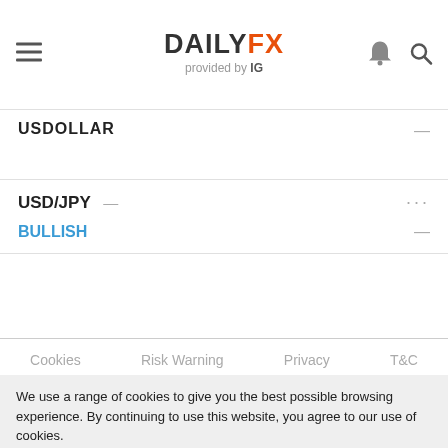DAILYFX provided by IG
USDOLLAR —
USD/JPY — ... BULLISH —
Cookies   Risk Warning   Privacy   T&C
We use a range of cookies to give you the best possible browsing experience. By continuing to use this website, you agree to our use of cookies.
You can learn more about our cookie policy here, or by following the link at the bottom of any page on our site. See our updated Privacy Policy here.
Accept ✓